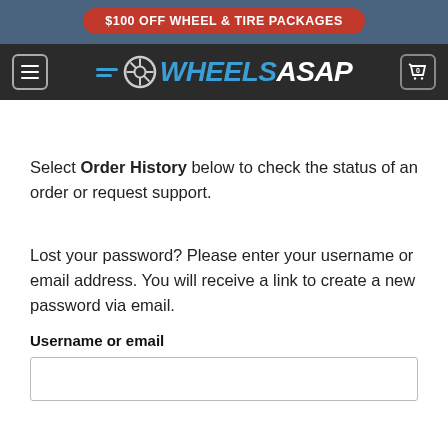$100 OFF WHEEL & TIRE PACKAGES
[Figure (logo): WheelsASAP logo with menu icon and cart button on dark navigation bar]
Select Order History below to check the status of an order or request support.
Lost your password? Please enter your username or email address. You will receive a link to create a new password via email.
Username or email